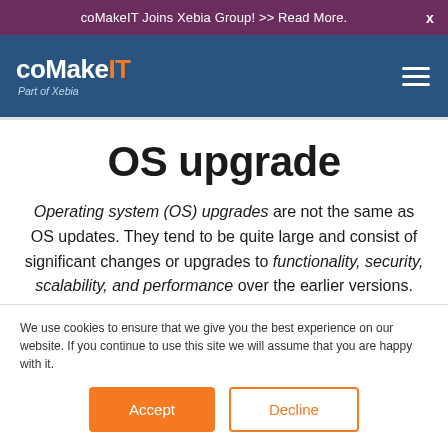coMakeIT Joins Xebia Group! >> Read More.
[Figure (logo): coMakeIT logo with text 'Part of Xebia' below, on dark blue navigation bar]
OS upgrade
Operating system (OS) upgrades are not the same as OS updates. They tend to be quite large and consist of significant changes or upgrades to functionality, security, scalability, and performance over the earlier versions.
We use cookies to ensure that we give you the best experience on our website. If you continue to use this site we will assume that you are happy with it.